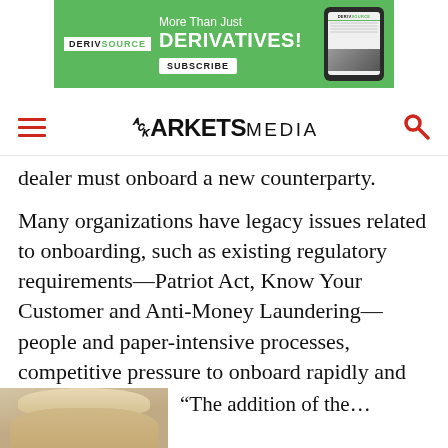[Figure (other): DerivSource advertisement banner: green background with 'More Than Just DERIVATIVES! SUBSCRIBE' text and smartphone image]
MARKETS MEDIA
dealer must onboard a new counterparty.
Many organizations have legacy issues related to onboarding, such as existing regulatory requirements—Patriot Act, Know Your Customer and Anti-Money Laundering—people and paper-intensive processes, competitive pressure to onboard rapidly and data silos.
[Figure (photo): Portrait photo of a blonde woman, partially visible at bottom of page]
“The addition of the…